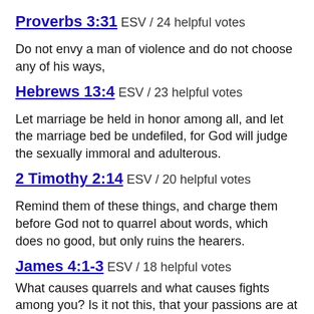Proverbs 3:31 ESV / 24 helpful votes
Do not envy a man of violence and do not choose any of his ways,
Hebrews 13:4 ESV / 23 helpful votes
Let marriage be held in honor among all, and let the marriage bed be undefiled, for God will judge the sexually immoral and adulterous.
2 Timothy 2:14 ESV / 20 helpful votes
Remind them of these things, and charge them before God not to quarrel about words, which does no good, but only ruins the hearers.
James 4:1-3 ESV / 18 helpful votes
What causes quarrels and what causes fights among you? Is it not this, that your passions are at war within you? You desire and do not have, so you murder. You